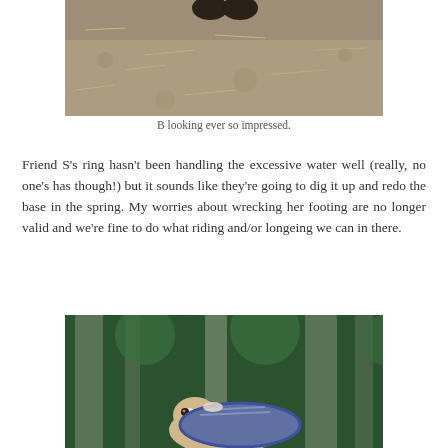[Figure (photo): Bottom portion of a horse showing hooves standing on dirt and hay ground, cropped photo]
B looking ever so impressed.
Friend S's ring hasn't been handling the excessive water well (really, no one's has though!) but it sounds like they're going to dig it up and redo the base in the spring. My worries about wrecking her footing are no longer valid and we're fine to do what riding and/or longeing we can in there.
[Figure (photo): A horse with a blanket or cover on its back, photographed outdoors with tall evergreen trees in the background]